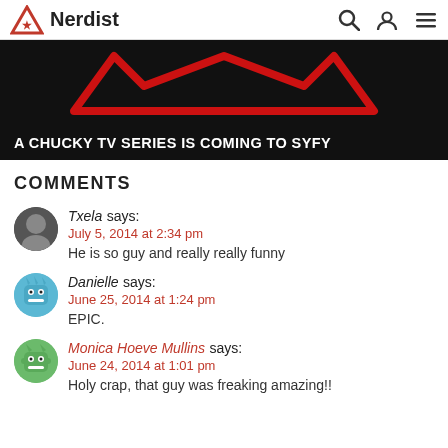Nerdist
[Figure (screenshot): Nerdist website header with logo (triangle with star icon and 'Nerdist' text), search icon, user icon, and hamburger menu icon on white background.]
[Figure (photo): Hero image for article 'A CHUCKY TV SERIES IS COMING TO SYFY' with red M-shaped logo/graphic on black background.]
A CHUCKY TV SERIES IS COMING TO SYFY
COMMENTS
Txela says: July 5, 2014 at 2:34 pm — He is so guy and really really funny
Danielle says: June 25, 2014 at 1:24 pm — EPIC.
Monica Hoeve Mullins says: June 24, 2014 at 1:01 pm — Holy crap, that guy was freaking amazing!!